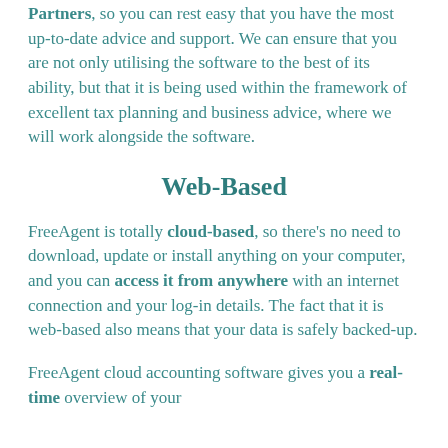Accredited FreeAgent Expert Partners, so you can rest easy that you have the most up-to-date advice and support. We can ensure that you are not only utilising the software to the best of its ability, but that it is being used within the framework of excellent tax planning and business advice, where we will work alongside the software.
Web-Based
FreeAgent is totally cloud-based, so there's no need to download, update or install anything on your computer, and you can access it from anywhere with an internet connection and your log-in details. The fact that it is web-based also means that your data is safely backed-up.
FreeAgent cloud accounting software gives you a real-time overview of your